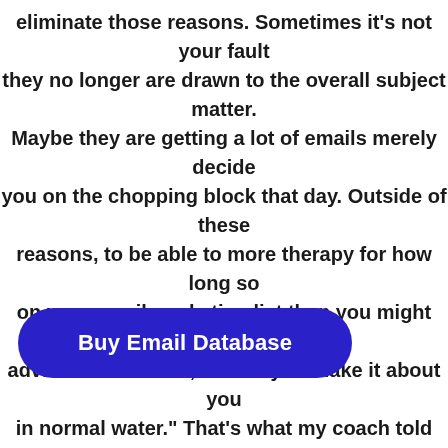eliminate those reasons. Sometimes it's not your fault they no longer are drawn to the overall subject matter. Maybe they are getting a lot of emails merely decided you on the chopping block that day. Outside of these reasons, to be able to more therapy for how long so on your email marketing list than you might imagi advice I offered her, "When you make it about you in normal water." That's what my coach told me, a
Buy Email Database